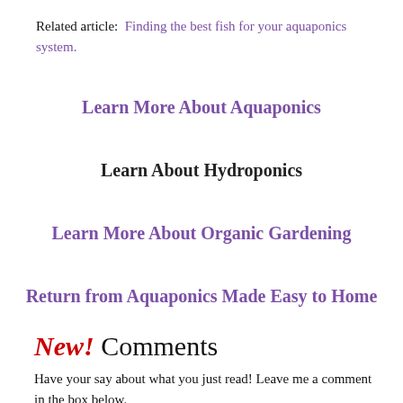Related article:  Finding the best fish for your aquaponics system.
Learn More About Aquaponics
Learn About Hydroponics
Learn More About Organic Gardening
Return from Aquaponics Made Easy to Home
New! Comments
Have your say about what you just read! Leave me a comment in the box below.